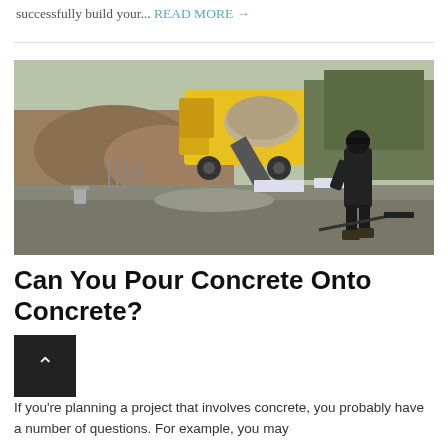successfully build your... READ MORE →
[Figure (photo): Construction worker spreading freshly poured concrete from a cement truck chute at a building site]
Can You Pour Concrete Onto Concrete?
If you're planning a project that involves concrete, you probably have a number of questions. For example, you may